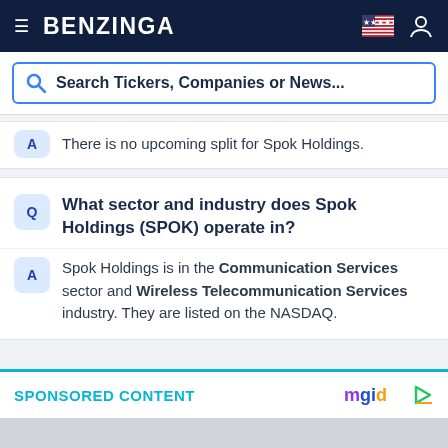BENZINGA
Search Tickers, Companies or News...
There is no upcoming split for Spok Holdings.
What sector and industry does Spok Holdings (SPOK) operate in?
Spok Holdings is in the Communication Services sector and Wireless Telecommunication Services industry. They are listed on the NASDAQ.
SPONSORED CONTENT